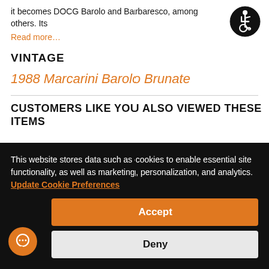it becomes DOCG Barolo and Barbaresco, among others. Its
Read more…
[Figure (illustration): Circular accessibility icon: black circle border with white figure in wheelchair]
VINTAGE
1988 Marcarini Barolo Brunate
CUSTOMERS LIKE YOU ALSO VIEWED THESE ITEMS
This website stores data such as cookies to enable essential site functionality, as well as marketing, personalization, and analytics. Update Cookie Preferences
Accept
Deny